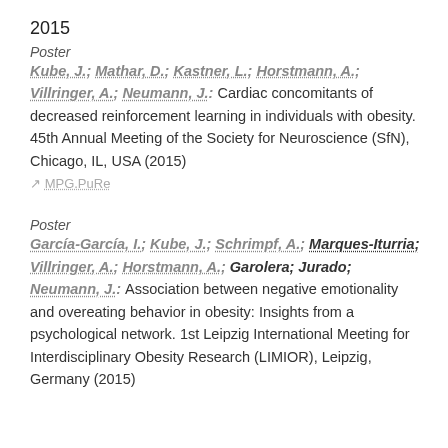2015
Poster
Kube, J.; Mathar, D.; Kastner, L.; Horstmann, A.; Villringer, A.; Neumann, J.: Cardiac concomitants of decreased reinforcement learning in individuals with obesity. 45th Annual Meeting of the Society for Neuroscience (SfN), Chicago, IL, USA (2015)
MPG.PuRe
Poster
García-García, I.; Kube, J.; Schrimpf, A.; Marques-Iturria; Villringer, A.; Horstmann, A.; Garolera; Jurado; Neumann, J.: Association between negative emotionality and overeating behavior in obesity: Insights from a psychological network. 1st Leipzig International Meeting for Interdisciplinary Obesity Research (LIMIOR), Leipzig, Germany (2015)